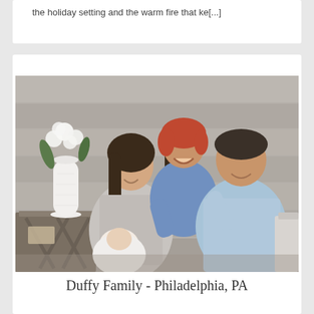the holiday setting and the warm fire that ke[...]
[Figure (photo): A family photo of the Duffy family from Philadelphia, PA. A woman with long dark hair in a grey sweater holds a newborn baby wrapped in white. A laughing red-haired toddler boy in a denim shirt sits between the parents. A man in a light blue button-up shirt smiles. They are seated in a styled indoor setting with a grey wood-plank wall background, a white vase with white flowers, and a small side table.]
Duffy Family - Philadelphia, PA